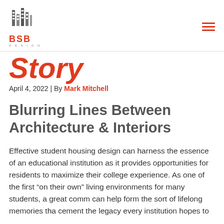BSB DESIGN
Story
April 4, 2022 | By Mark Mitchell
Blurring Lines Between Architecture & Interiors
Effective student housing design can harness the essence of an educational institution as it provides opportunities for residents to maximize their college experience. As one of the first “on their own” living environments for many students, a great comm can help form the sort of lifelong memories tha cement the legacy every institution hopes to